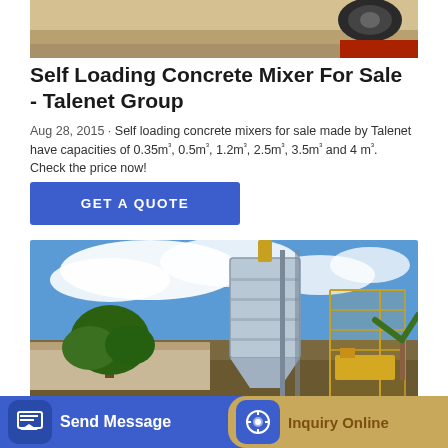[Figure (photo): Top partial view of construction equipment/machinery on sandy ground with red vehicle visible at right edge]
Self Loading Concrete Mixer For Sale - Talenet Group
Aug 28, 2015 · Self loading concrete mixers for sale made by Talenet have capacities of 0.35m³, 0.5m³, 1.2m³, 2.5m³, 3.5m³ and 4 m³. Check the price now!
[Figure (other): GET A QUOTE button in blue]
[Figure (photo): Industrial concrete batching plant with large cylindrical silo, scaffolding, trees, and building structure under blue sky with clouds]
[Figure (other): Footer bar with Send Message button (blue) and Inquiry Online button (tan/gold)]